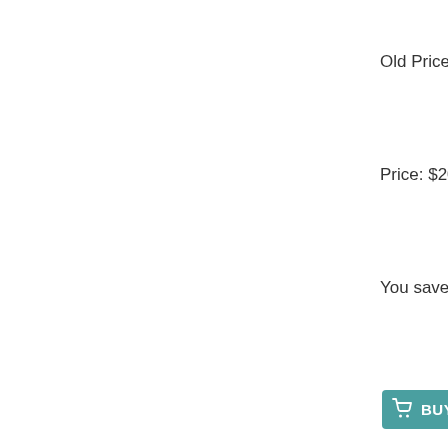Old Price: $25.
Price: $20.00
You save: $5.0
[Figure (other): BUY NOW button with shopping cart icon, teal/green background with white text]
...................................................